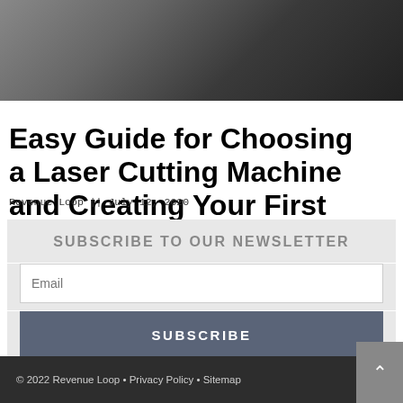[Figure (photo): Close-up photo of a laser cutting machine surface, dark metallic tones]
Easy Guide for Choosing a Laser Cutting Machine and Creating Your First Laser Cutter Project
Revenue Loop || July 12, 2020
SUBSCRIBE TO OUR NEWSLETTER
Email
SUBSCRIBE
© 2022 Revenue Loop • Privacy Policy • Sitemap